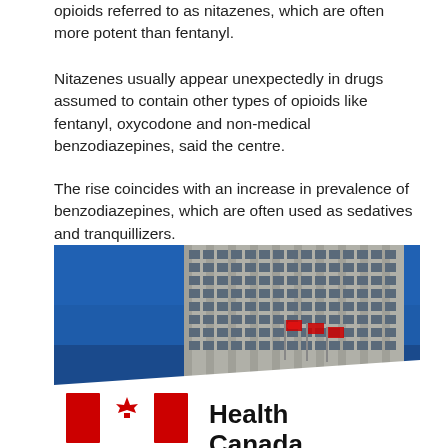opioids referred to as nitazenes, which are often more potent than fentanyl.
Nitazenes usually appear unexpectedly in drugs assumed to contain other types of opioids like fentanyl, oxycodone and non-medical benzodiazepines, said the centre.
The rise coincides with an increase in prevalence of benzodiazepines, which are often used as sedatives and tranquillizers.
[Figure (photo): Exterior photo of a tall government office building with a Health Canada sign in the foreground featuring the Canadian flag logo. Canadian flags are visible on the building. The building has a grid of many windows against a blue sky.]